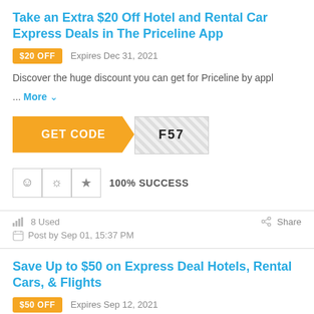Take an Extra $20 Off Hotel and Rental Car Express Deals in The Priceline App
$20 OFF   Expires Dec 31, 2021
Discover the huge discount you can get for Priceline by appl
... More
[Figure (other): GET CODE button with coupon code TF57 partially revealed]
100% SUCCESS
8 Used   Share
Post by Sep 01, 15:37 PM
Save Up to $50 on Express Deal Hotels, Rental Cars, & Flights
$50 OFF   Expires Sep 12, 2021
It never hurts to try a few promo codes. Take the $50 Off Co